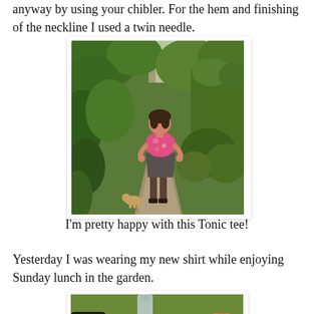anyway by using your chibler. For the hem and finishing of the neckline I used a twin needle.
[Figure (photo): Woman in a pink floral top and dark skirt standing on a garden path surrounded by lush green plants and hedges, with a small dog visible nearby.]
I'm pretty happy with this Tonic tee!
Yesterday I was wearing my new shirt while enjoying Sunday lunch in the garden.
[Figure (photo): Outdoor lunch table scene in garden with a glass bottle/carafe, plate of food, and a small stuffed animal or dog visible.]